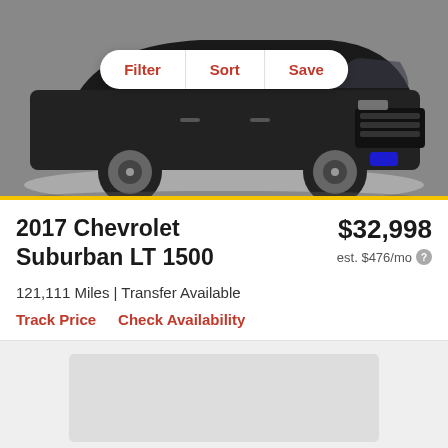[Figure (photo): Black Chevrolet Suburban SUV photographed from a front-side angle on a white studio background. A pill-shaped toolbar with Filter, Sort, Save buttons overlays the top of the image.]
2017 Chevrolet Suburban LT 1500
$32,998
est. $476/mo
121,111 Miles | Transfer Available
Track Price   Check Availability
[Figure (photo): Partially visible next vehicle listing card placeholder (gray rectangle preview of next car image).]